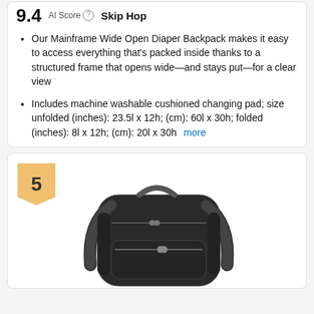9.4  AI Score  Skip Hop
Our Mainframe Wide Open Diaper Backpack makes it easy to access everything that's packed inside thanks to a structured frame that opens wide—and stays put—for a clear view
Includes machine washable cushioned changing pad; size unfolded (inches): 23.5l x 12h; (cm): 60l x 30h; folded (inches): 8l x 12h; (cm): 20l x 30h  more
[Figure (photo): Black diaper backpack product photo with rank badge showing number 5]